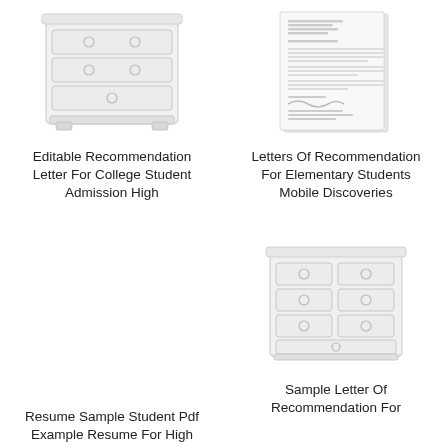[Figure (illustration): White dresser with drawers and circular handles illustration]
Editable Recommendation Letter For College Student Admission High
[Figure (illustration): Scanned recommendation letter document image]
Letters Of Recommendation For Elementary Students Mobile Discoveries
[Figure (illustration): White dresser with drawers and circular handles illustration (bottom left, empty area shown)]
Resume Sample Student Pdf Example Resume For High
[Figure (illustration): White dresser with drawers and circular handles illustration]
Sample Letter Of Recommendation For